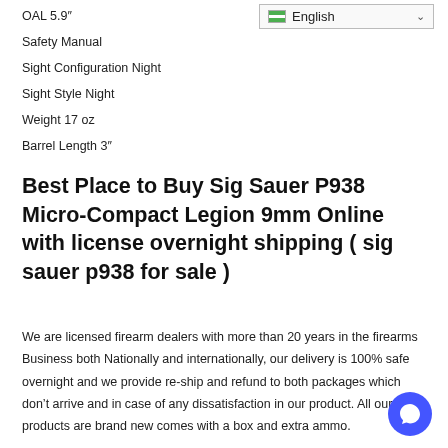OAL 5.9″
Safety Manual
Sight Configuration Night
Sight Style Night
Weight 17 oz
Barrel Length 3″
Best Place to Buy Sig Sauer P938 Micro-Compact Legion 9mm Online with license overnight shipping ( sig sauer p938 for sale )
We are licensed firearm dealers with more than 20 years in the firearms Business both Nationally and internationally, our delivery is 100% safe overnight and we provide re-ship and refund to both packages which don't arrive and in case of any dissatisfaction in our product. All our products are brand new comes with a box and extra ammo.